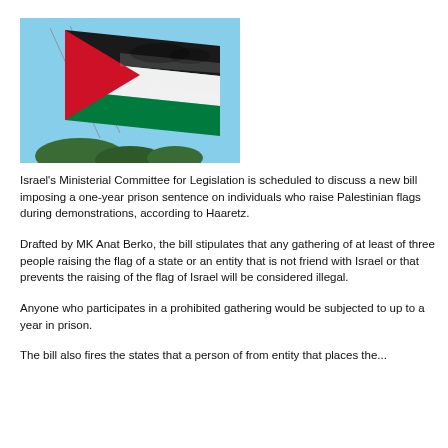[Figure (photo): Photo of a Palestinian flag waving in the wind against a blue sky with some green treetops visible at the bottom.]
Israel's Ministerial Committee for Legislation is scheduled to discuss a new bill imposing a one-year prison sentence on individuals who raise Palestinian flags during demonstrations, according to Haaretz.
Drafted by MK Anat Berko, the bill stipulates that any gathering of at least of three people raising the flag of a state or an entity that is not friend with Israel or that prevents the raising of the flag of Israel will be considered illegal.
Anyone who participates in a prohibited gathering would be subjected to up to a year in prison.
The bill also fires the states that a person of from entity that places the...